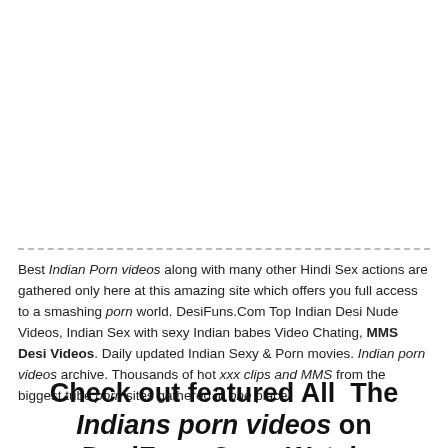Best Indian Porn videos along with many other Hindi Sex actions are gathered only here at this amazing site which offers you full access to a smashing porn world. DesiFuns.Com Top Indian Desi Nude Videos, Indian Sex with sexy Indian babes Video Chating, MMS Desi Videos. Daily updated Indian Sexy & Porn movies. Indian porn videos archive. Thousands of hot xxx clips and MMS from the biggest tube porn sites gathered in one place!
Check out featured All  The Indians porn videos on DesiFuns.Com. Watch